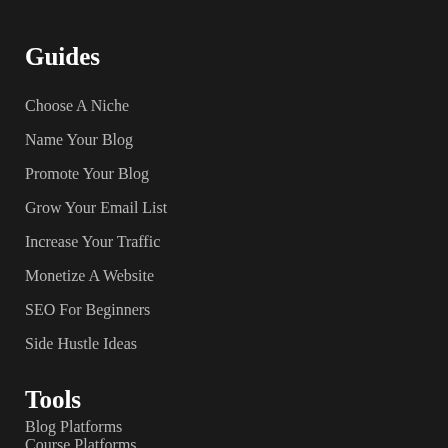Guides
Choose A Niche
Name Your Blog
Promote Your Blog
Grow Your Email List
Increase Your Traffic
Monetize A Website
SEO For Beginners
Side Hustle Ideas
Tools
Blog Platforms
Course Platforms